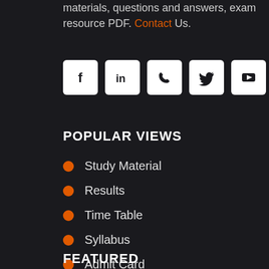materials, questions and answers, exam resource PDF. Contact Us.
[Figure (other): Row of five white square social media icon buttons: Facebook (f), LinkedIn (in), Phone (handset), Twitter (bird), YouTube (play button)]
POPULAR VIEWS
Study Material
Results
Time Table
Syllabus
Admit Card
FEATURED